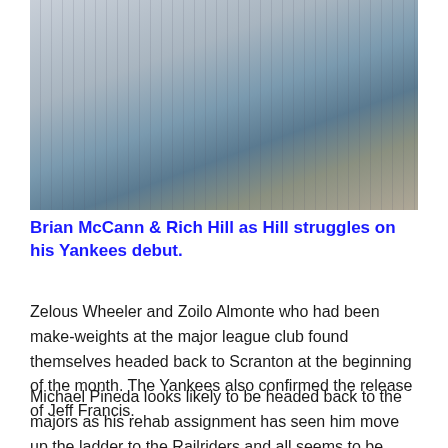[Figure (photo): Photo of Brian McCann and Rich Hill in New York Yankees pinstripe uniforms, showing players from torso down, Hill holding a baseball.]
Brian McCann & Rich Hill as Hill struggles on his Yankees debut.
Zelous Wheeler and Zoilo Almonte who had been make-weights at the major league club found themselves headed back to Scranton at the beginning of the month. The Yankees also confirmed the release of Jeff Francis.
Michael Pineda looks likely to be headed back to the majors as his rehab assignment has seen him move up the ladder to the Railriders and all seems to be going well.